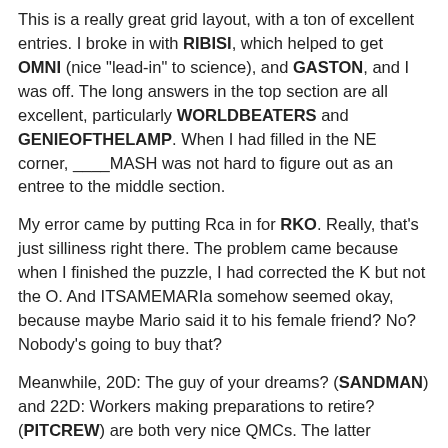This is a really great grid layout, with a ton of excellent entries. I broke in with RIBISI, which helped to get OMNI (nice "lead-in" to science), and GASTON, and I was off. The long answers in the top section are all excellent, particularly WORLDBEATERS and GENIEOFTHELAMP. When I had filled in the NE corner, ____MASH was not hard to figure out as an entree to the middle section.
My error came by putting Rca in for RKO. Really, that's just silliness right there. The problem came because when I finished the puzzle, I had corrected the K but not the O. And ITSAMEMARIa somehow seemed okay, because maybe Mario said it to his female friend? No? Nobody's going to buy that?
Meanwhile, 20D: The guy of your dreams? (SANDMAN) and 22D: Workers making preparations to retire? (PITCREW) are both very nice QMCs. The latter reminds me also of that great clue from a couple of days ago.
[Figure (photo): Colorful abstract or decorative image at the bottom of the page, partially visible]